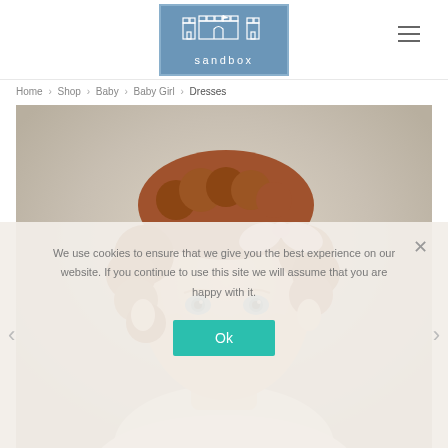[Figure (logo): Sandbox children's clothing store logo — blue rectangle with white castle illustration and 'sandbox' text in white]
Home › Shop › Baby › Baby Girl › Dresses
[Figure (photo): A toddler girl with curly auburn hair and blue eyes, wearing a pink bow in her hair and a white/pink dress, looking upward, against a neutral beige background]
We use cookies to ensure that we give you the best experience on our website. If you continue to use this site we will assume that you are happy with it.